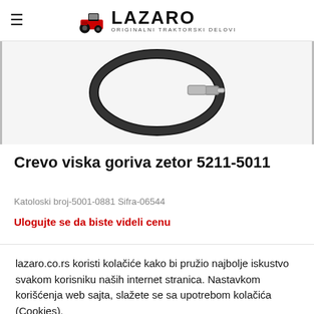LAZARO ORIGINALNI TRAKTORSKI DELOVI
[Figure (photo): Product photo of a fuel hose (crevo) in a circular coil with metal end fitting, shown on white background]
Crevo viska goriva zetor 5211-5011
Katoloski broj-5001-0881 Sifra-06544
Ulogujte se da biste videli cenu
lazaro.co.rs koristi kolačiće kako bi pružio najbolje iskustvo svakom korisniku naših internet stranica. Nastavkom korišćenja web sajta, slažete se sa upotrebom kolačića (Cookies).
PRIHVATI